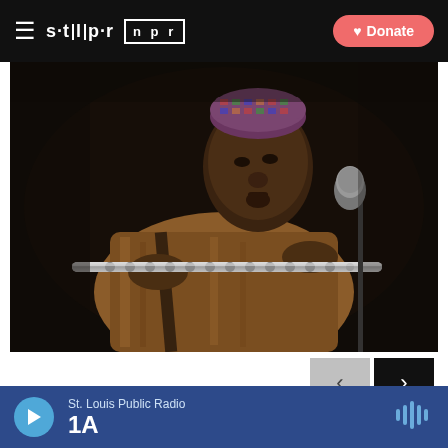≡ st|l|p|r  n p r  ♥ Donate
[Figure (photo): A musician playing a silver flute, wearing an orange/gold embroidered robe and a colorful patterned kufi hat, performing in front of a microphone on a dark stage.]
1 of 5
St. Louis Public Radio  1A